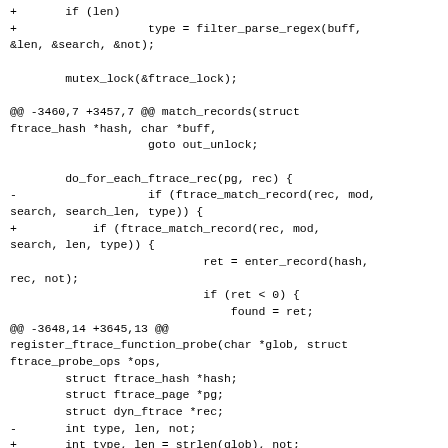+       if (len)
+                   type = filter_parse_regex(buff, &len, &search, &not);

        mutex_lock(&ftrace_lock);

@@ -3460,7 +3457,7 @@ match_records(struct ftrace_hash *hash, char *buff,
                    goto out_unlock;

        do_for_each_ftrace_rec(pg, rec) {
-                   if (ftrace_match_record(rec, mod, search, search_len, type)) {
+           if (ftrace_match_record(rec, mod, search, len, type)) {
                            ret = enter_record(hash, rec, not);
                            if (ret < 0) {
                                found = ret;
@@ -3648,14 +3645,13 @@ register_ftrace_function_probe(char *glob, struct ftrace_probe_ops *ops,
        struct ftrace_hash *hash;
        struct ftrace_page *pg;
        struct dyn_ftrace *rec;
-       int type, len, not;
+       int type, len = strlen(glob), not;
        unsigned long key;
        int count = 0;
        char *search;
        int ret;